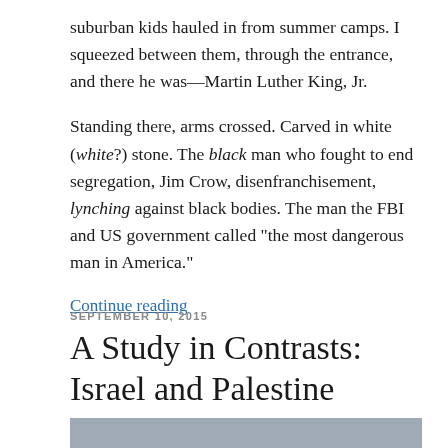suburban kids hauled in from summer camps. I squeezed between them, through the entrance, and there he was—Martin Luther King, Jr.
Standing there, arms crossed. Carved in white (white?) stone. The black man who fought to end segregation, Jim Crow, disenfranchisement, lynching against black bodies. The man the FBI and US government called “the most dangerous man in America.”
Continue reading
SEPTEMBER 10, 2015
A Study in Contrasts: Israel and Palestine
[Figure (photo): Gray/blue toned photographic image strip at bottom of page, partially visible]